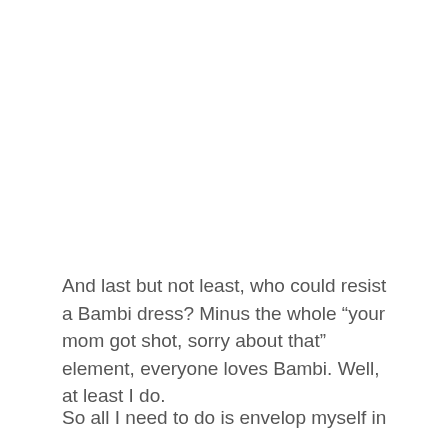And last but not least, who could resist a Bambi dress? Minus the whole “your mom got shot, sorry about that” element, everyone loves Bambi. Well, at least I do.
So all I need to do is envelop myself in